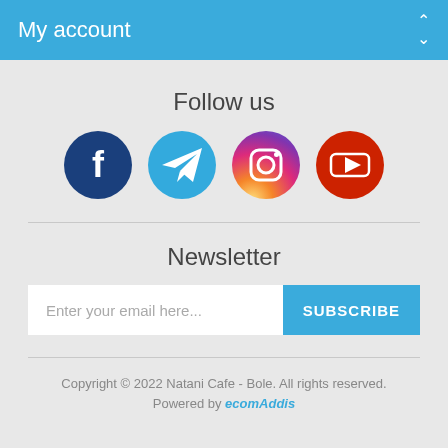My account
Follow us
[Figure (illustration): Four social media icons: Facebook (dark blue circle with 'f'), Telegram (blue circle with paper plane), Instagram (gradient purple-orange circle with camera), YouTube (red circle with play button)]
Newsletter
Enter your email here... SUBSCRIBE
Copyright © 2022 Natani Cafe - Bole. All rights reserved. Powered by ecomAddis